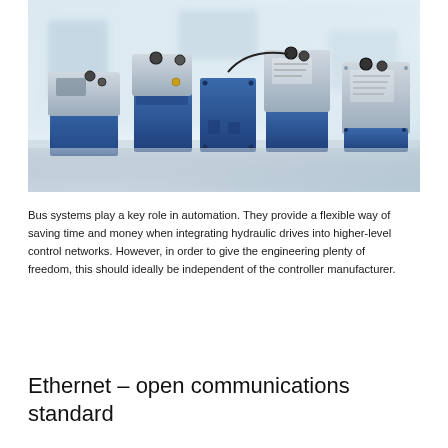[Figure (photo): Industrial hydraulic drive components and electronic control units in blue and silver/grey, arranged on a reflective surface with a blurred white laboratory background.]
Bus systems play a key role in automation. They provide a flexible way of saving time and money when integrating hydraulic drives into higher-level control networks. However, in order to give the engineering plenty of freedom, this should ideally be independent of the controller manufacturer.
Ethernet – open communications standard